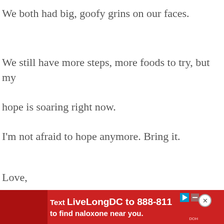We both had big, goofy grins on our faces.
We still have more steps, more foods to try, but my hope is soaring right now.
I'm not afraid to hope anymore. Bring it.
Love,
[Figure (other): Red advertisement banner: Text LiveLongDC to 888-811 to find naloxone near you. Features a play button icon, close button, and DOH logo.]